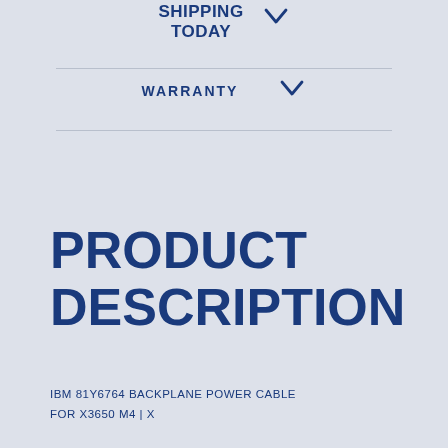SHIPPING TODAY
WARRANTY
PRODUCT DESCRIPTION
IBM 81Y6764 BACKPLANE POWER CABLE FOR X3650 M4 | X